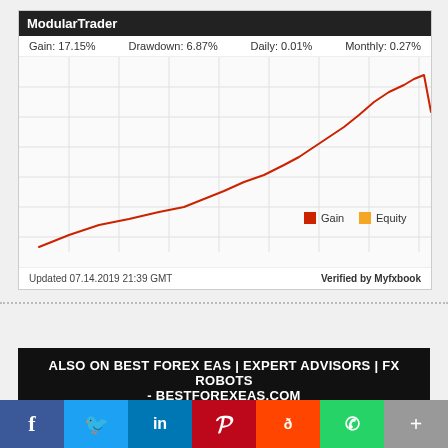[Figure (line-chart): Line chart showing Gain over time. Gain: 17.15%, Drawdown: 6.87%, Daily: 0.01%, Monthly: 0.27%. The line trends upward from bottom-left to a peak near the right, then drops sharply. Legend shows Gain (red) and Equity (orange). Updated 07.14.2019 21:39 GMT. Verified by Myfxbook.]
Visit the Official Modular Trader EA website
ALSO ON BEST FOREX EAS | EXPERT ADVISORS | FX ROBOTS - BESTFOREXEAS.COM